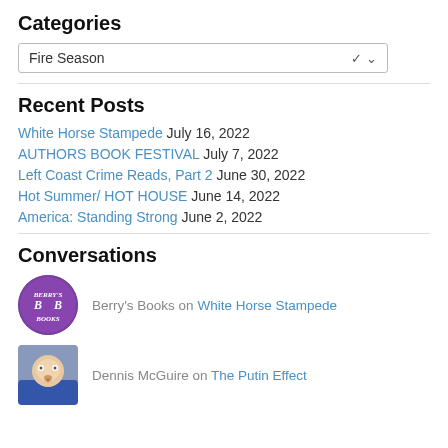Categories
Fire Season (dropdown)
Recent Posts
White Horse Stampede July 16, 2022
AUTHORS BOOK FESTIVAL July 7, 2022
Left Coast Crime Reads, Part 2 June 30, 2022
Hot Summer/ HOT HOUSE June 14, 2022
America: Standing Strong June 2, 2022
Conversations
Berry's Books on White Horse Stampede
Dennis McGuire on The Putin Effect